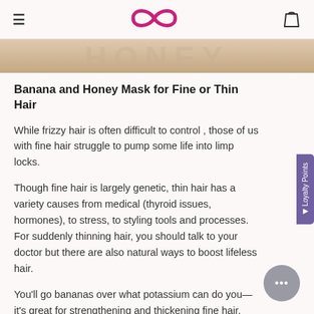Navigation header with hamburger menu, infinity loop logo, and bag icon
[Figure (photo): Partial hero image of banana/honey product with large faded text watermark]
Banana and Honey Mask for Fine or Thin Hair
While frizzy hair is often difficult to control , those of us with fine hair struggle to pump some life into limp locks.
Though fine hair is largely genetic, thin hair has a variety causes from medical (thyroid issues, hormones), to stress, to styling tools and processes. For suddenly thinning hair, you should talk to your doctor but there are also natural ways to boost lifeless hair.
You'll go bananas over what potassium can do you— it's great for strengthening and thickening fine hair. Bananas nourish the scalp and hair follicles, help